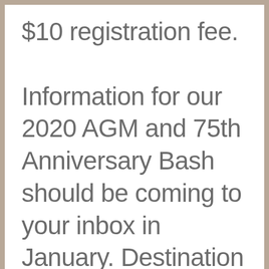$10 registration fee. Information for our 2020 AGM and 75th Anniversary Bash should be coming to your inbox in January. Destination